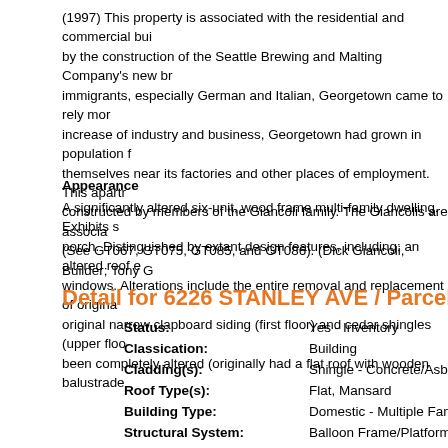(1997) This property is associated with the residential and commercial bu... by the construction of the Seattle Brewing and Malting Company's new br... immigrants, especially German and Italian, Georgetown came to rely mor... increase of industry and business, Georgetown had grown in population f... themselves near its factories and other places of employment. This apart... constructed by members of the Giancoli family. The Giancolis are associa... (See GT067, GT075, GT085, and GT086). (Dick Giancoli, Builder; Tony G...
Appearance
A significantly altered six-unit, wood frame multi-family dwelling. Exhibits s... porch. Distinguished by extant design features, including: an altered roof e... windows. Alterations include the entire removal and replacement of origina... original narrow clapboard siding (first floor) and cedar shingles (upper floo... been completely altered (originally had a flat roof with wooden balustrade...
Detail for 6226 STANLEY AVE / Parcel ID 70062...
| Field | Value |
| --- | --- |
| Status: | Yes - Inventory |
| Classication: | Building |
| Cladding(s): | Shingle - Concrete/Asbestos |
| Roof Type(s): | Flat, Mansard |
| Building Type: | Domestic - Multiple Family |
| Structural System: | Balloon Frame/Platform Frame |